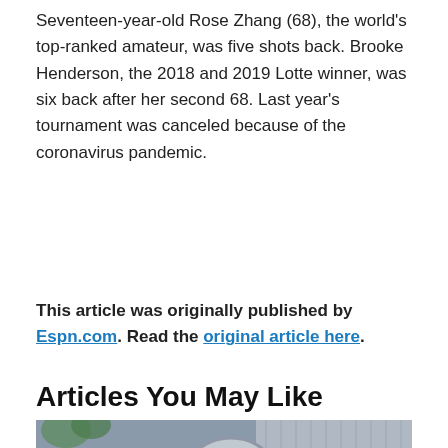Seventeen-year-old Rose Zhang (68), the world's top-ranked amateur, was five shots back. Brooke Henderson, the 2018 and 2019 Lotte winner, was six back after her second 68. Last year's tournament was canceled because of the coronavirus pandemic.
This article was originally published by Espn.com. Read the original article here.
Articles You May Like
[Figure (photo): A worker in a yellow hard hat and high-visibility jacket with blue gloves, standing near industrial equipment including a large cylindrical machine. Background shows a grey building facade.]